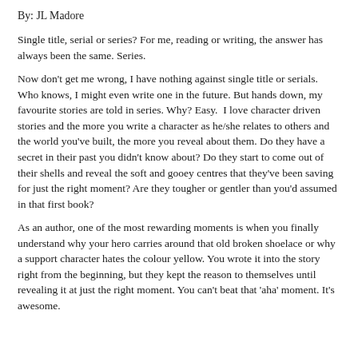By: JL Madore
Single title, serial or series? For me, reading or writing, the answer has always been the same. Series.
Now don't get me wrong, I have nothing against single title or serials. Who knows, I might even write one in the future. But hands down, my favourite stories are told in series. Why? Easy.  I love character driven stories and the more you write a character as he/she relates to others and the world you've built, the more you reveal about them. Do they have a secret in their past you didn't know about? Do they start to come out of their shells and reveal the soft and gooey centres that they've been saving for just the right moment? Are they tougher or gentler than you'd assumed in that first book?
As an author, one of the most rewarding moments is when you finally understand why your hero carries around that old broken shoelace or why a support character hates the colour yellow. You wrote it into the story right from the beginning, but they kept the reason to themselves until revealing it at just the right moment. You can't beat that 'aha' moment. It's awesome.